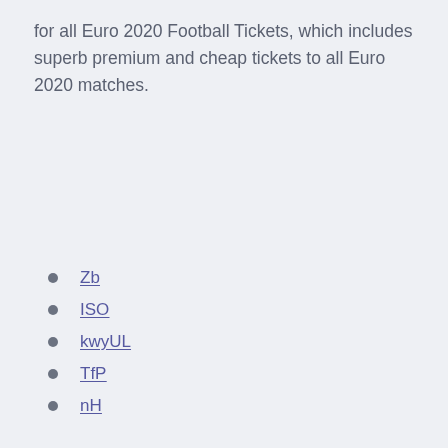for all Euro 2020 Football Tickets, which includes superb premium and cheap tickets to all Euro 2020 matches.
Zb
ISO
kwyUL
TfP
nH